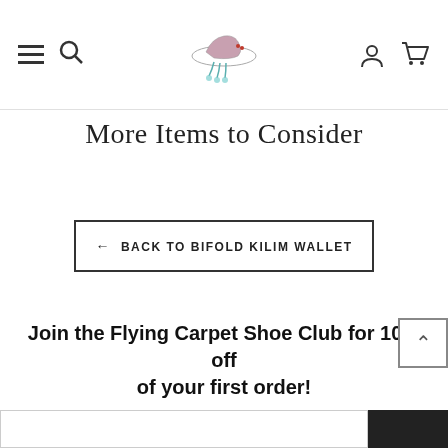Navigation bar with hamburger menu, search, logo, user account, and cart icons
More Items to Consider
← BACK TO BIFOLD KILIM WALLET
Join the Flying Carpet Shoe Club for 10% off of your first order!
Be the first to know when we release a collection, host an online sample sale, or pop up in your town!